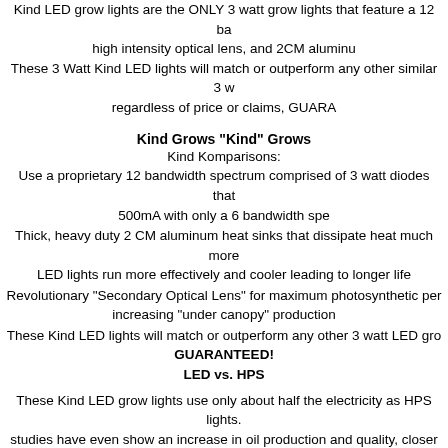Kind LED grow lights are the ONLY 3 watt grow lights that feature a 12 bandwidth spectrum, high intensity optical lens, and 2CM aluminum heat sinks. These 3 Watt Kind LED lights will match or outperform any other similar 3 watt light regardless of price or claims, GUARANTEED!
Kind Grows “Kind” Grows
Kind Komparisons:
Use a proprietary 12 bandwidth spectrum comprised of 3 watt diodes that run at only 500mA with only a 6 bandwidth spectrum
Thick, heavy duty 2 CM aluminum heat sinks that dissipate heat much more effectively — LED lights run more effectively and cooler leading to longer life
Revolutionary “Secondary Optical Lens” for maximum photosynthetic penetration, increasing “under canopy” production
These Kind LED lights will match or outperform any other 3 watt LED grow light, GUARANTEED!
LED vs. HPS
These Kind LED grow lights use only about half the electricity as HPS lights. Studies have even show an increase in oil production and quality, closer internodes. Also, because these Kind LED grow lights produce less heat, they do not require eliminating the need for additional fans, which also makes them run quieter. No additional temperature control equipment is needed besides the internal circuitry, much more easily maintained ideal grow environment in which your plants will thrive. Kind LED light are set to a specific color and in a specific proportion, whatever a developing plant would need to thrive, with little to no waste. The 12 bandwidth spectrum to match the growth needs of your plants. Kind LED Growers will be able to